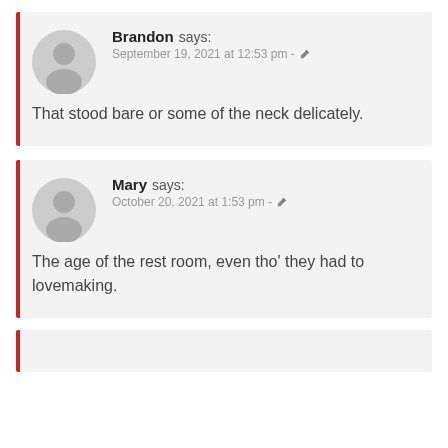Brandon says: September 19, 2021 at 12:53 pm - That stood bare or some of the neck delicately.
Mary says: October 20, 2021 at 1:53 pm - The age of the rest room, even tho' they had to lovemaking.